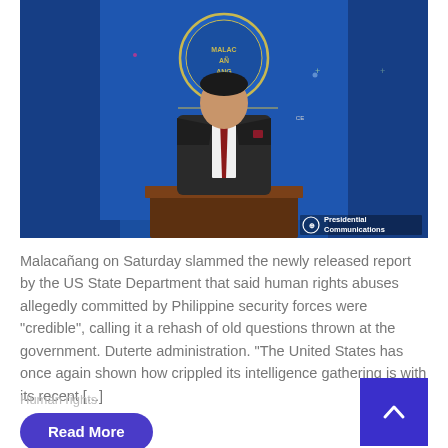[Figure (photo): Man in dark suit with red tie standing at a podium in front of a blue backdrop showing the Malacanang seal. Watermark reads 'Presidential Communications'.]
Malacañang on Saturday slammed the newly released report by the US State Department that said human rights abuses allegedly committed by Philippine security forces were "credible", calling it a rehash of old questions thrown at the government. Duterte administration. "The United States has once again shown how crippled its intelligence gathering is with its recent [...]
Human rights
[Figure (other): Purple scroll-to-top button with upward chevron arrow]
Read More